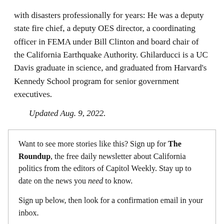with disasters professionally for years: He was a deputy state fire chief, a deputy OES director, a coordinating officer in FEMA under Bill Clinton and board chair of the California Earthquake Authority. Ghilarducci is a UC Davis graduate in science, and graduated from Harvard's Kennedy School program for senior government executives.
Updated Aug. 9, 2022.
Want to see more stories like this? Sign up for The Roundup, the free daily newsletter about California politics from the editors of Capitol Weekly. Stay up to date on the news you need to know.
Sign up below, then look for a confirmation email in your inbox.